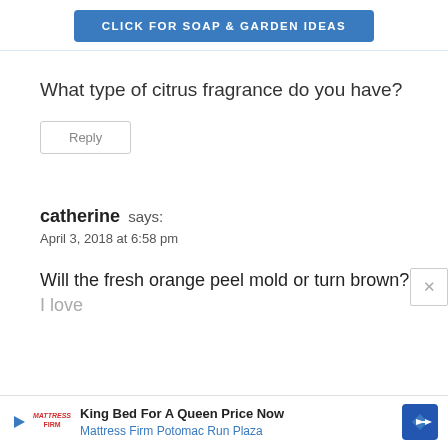CLICK FOR SOAP & GARDEN IDEAS
What type of citrus fragrance do you have?
Reply
catherine says:
April 3, 2018 at 6:58 pm
Will the fresh orange peel mold or turn brown?
I love
[Figure (screenshot): Advertisement banner: Mattress Firm - King Bed For A Queen Price Now, Mattress Firm Potomac Run Plaza]